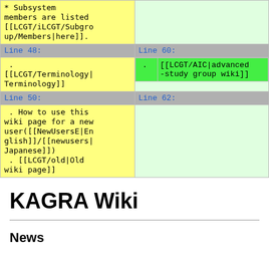| (left diff col) | (right diff col) |
| --- | --- |
| * Subsystem members are listed [[LCGT/iLCGT/Subgroup/Members|here]]. |  |
| Line 48: | Line 60: |
| . [[LCGT/Terminology|Terminology]] | . [[LCGT/AIC|advanced-study group wiki]] |
| Line 50: | Line 62: |
| . How to use this wiki page for a new user([[NewUsersE|English]]/[[newusers|Japanese]]) . [[LCGT/old|Old wiki page]] |  |
KAGRA Wiki
News